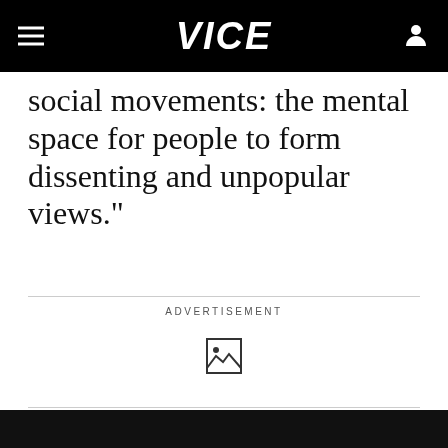VICE
social movements: the mental space for people to form dissenting and unpopular views."
ADVERTISEMENT
[Figure (other): Broken/placeholder image icon in advertisement area]